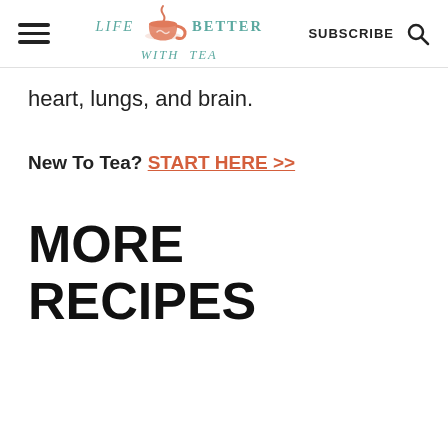LIFE BETTER WITH TEA | SUBSCRIBE
heart, lungs, and brain.
New To Tea? START HERE >>
MORE RECIPES